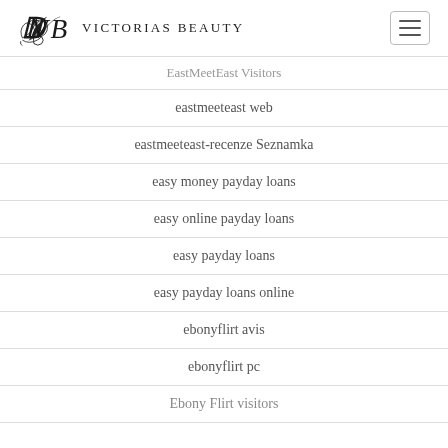Victorias Beauty
EastMeetEast Visitors
eastmeeteast web
eastmeeteast-recenze Seznamka
easy money payday loans
easy online payday loans
easy payday loans
easy payday loans online
ebonyflirt avis
ebonyflirt pc
Ebony Flirt visitors